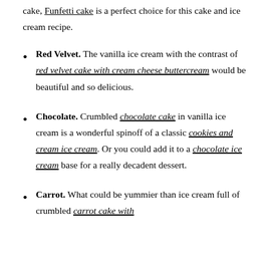cake, Funfetti cake is a perfect choice for this cake and ice cream recipe.
Red Velvet. The vanilla ice cream with the contrast of red velvet cake with cream cheese buttercream would be beautiful and so delicious.
Chocolate. Crumbled chocolate cake in vanilla ice cream is a wonderful spinoff of a classic cookies and cream ice cream. Or you could add it to a chocolate ice cream base for a really decadent dessert.
Carrot. What could be yummier than ice cream full of crumbled carrot cake with